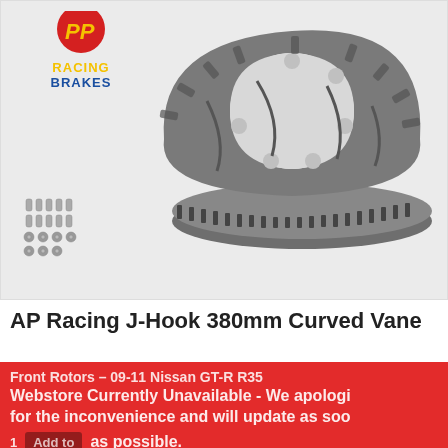[Figure (photo): Product photo showing AP Racing J-Hook 380mm Curved Vane front brake rotors with hardware screws, alongside a PP Racing Brakes logo in the top-left corner. A watermark reading 'SULLY' is visible across the image background.]
AP Racing J-Hook 380mm Curved Vane Front Rotors – 09-11 Nissan GT-R R35
Webstore Currently Unavailable - We apologize for the inconvenience and will update as soon as possible.
1  Add to as possible.